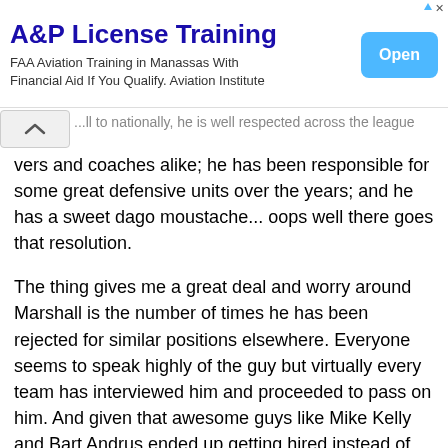[Figure (screenshot): Advertisement banner for A&P License Training. Shows title 'A&P License Training', subtitle 'FAA Aviation Training in Manassas With Financial Aid If You Qualify. Aviation Institute', and a blue 'Open' button on the right. Small arrow and X icons in top right corner.]
...ll to nationally, he is well respected across the league vers and coaches alike; he has been responsible for some great defensive units over the years; and he has a sweet dago moustache... oops well there goes that resolution.
The thing gives me a great deal and worry around Marshall is the number of times he has been rejected for similar positions elsewhere. Everyone seems to speak highly of the guy but virtually every team has interviewed him and proceeded to pass on him. And given that awesome guys like Mike Kelly and Bart Andrus ended up getting hired instead of him has got to give you cause for concern. Its like a really hot chick that all your friends rave about but nobody has or wants to sleep with her. That just doesn't make sense unless she has STDs or a tendency for stabbing people or something serious like that that you don't know about.